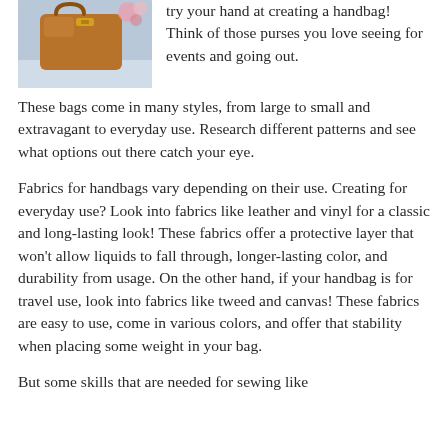[Figure (photo): Brown leather handbag held by a person, with flowers in the background]
try your hand at creating a handbag! Think of those purses you love seeing for events and going out.
These bags come in many styles, from large to small and extravagant to everyday use. Research different patterns and see what options out there catch your eye.
Fabrics for handbags vary depending on their use. Creating for everyday use? Look into fabrics like leather and vinyl for a classic and long-lasting look! These fabrics offer a protective layer that won’t allow liquids to fall through, longer-lasting color, and durability from usage. On the other hand, if your handbag is for travel use, look into fabrics like tweed and canvas! These fabrics are easy to use, come in various colors, and offer that stability when placing some weight in your bag.
But some skills that are needed for sewing like